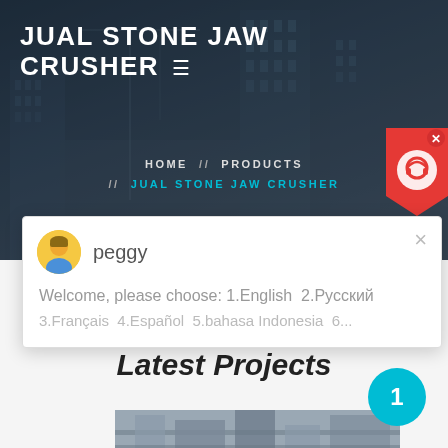JUAL STONE JAW CRUSHER
HOME // PRODUCTS // JUAL STONE JAW CRUSHER
[Figure (screenshot): Chat support popup with avatar of 'peggy', showing welcome message: 'Welcome, please choose: 1.English 2.Русский 3.Français 4.Español 5.bahasa Indonesia 6...' with a close button]
Latest Projects
[Figure (photo): Industrial machinery / jaw crusher equipment in a construction facility, viewed from above at an angle, showing large mechanical components in grey tones]